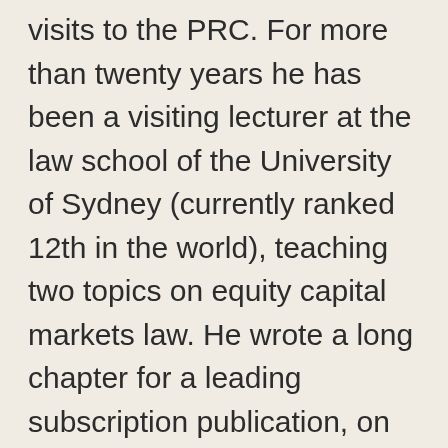visits to the PRC. For more than twenty years he has been a visiting lecturer at the law school of the University of Sydney (currently ranked 12th in the world), teaching two topics on equity capital markets law. He wrote a long chapter for a leading subscription publication, on public merger and acquisition law in Australia.